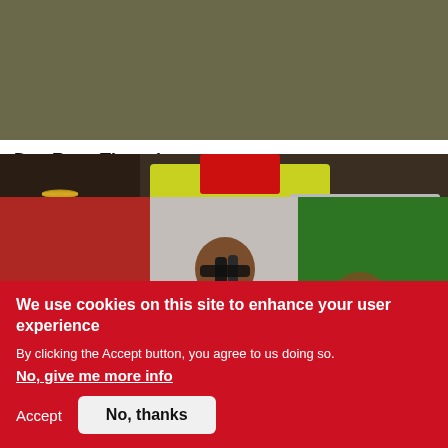[Figure (photo): Top portion of a DJ event photo showing a person in a yellow shirt behind DJ equipment with a MacBook laptop]
Day Rave Thursdayz
Jul 28th 2020
[Figure (photo): A female performer on stage holding a microphone, wearing a colorful top and blue shorts, with a flag backdrop]
We use cookies on this site to enhance your user experience
By clicking the Accept button, you agree to us doing so.
No, give me more info
Accept
No, thanks